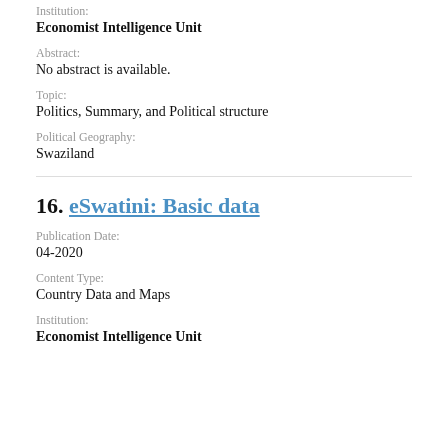Institution:
Economist Intelligence Unit
Abstract:
No abstract is available.
Topic:
Politics, Summary, and Political structure
Political Geography:
Swaziland
16. eSwatini: Basic data
Publication Date:
04-2020
Content Type:
Country Data and Maps
Institution:
Economist Intelligence Unit